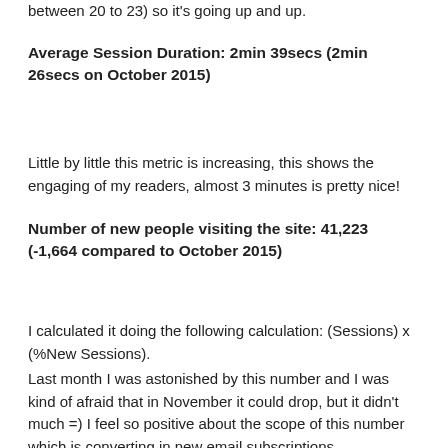between 20 to 23) so it's going up and up.
Average Session Duration: 2min 39secs (2min 26secs on October 2015)
Little by little this metric is increasing, this shows the engaging of my readers, almost 3 minutes is pretty nice!
Number of new people visiting the site: 41,223 (-1,664 compared to October 2015)
I calculated it doing the following calculation: (Sessions) x (%New Sessions).
Last month I was astonished by this number and I was kind of afraid that in November it could drop, but it didn't much =) I feel so positive about the scope of this number which is converting in new email subscriptions.